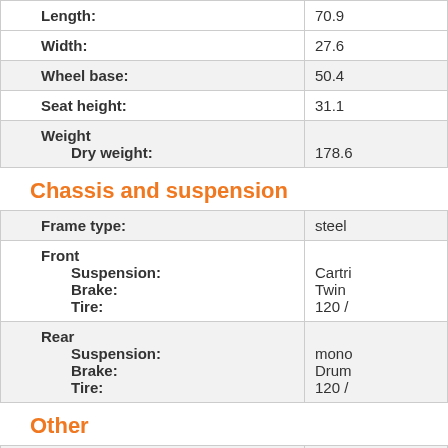| Property | Value |
| --- | --- |
| Length: | 70.9 |
| Width: | 27.6 |
| Wheel base: | 50.4 |
| Seat height: | 31.1 |
| Weight
  Dry weight: | 178.6 |
Chassis and suspension
| Property | Value |
| --- | --- |
| Frame type: | steel |
| Front
  Suspension:
  Brake:
  Tire: | Cartri
Twin
120 / |
| Rear
  Suspension:
  Brake:
  Tire: | mono
Drum
120 / |
Other
| Property | Value |
| --- | --- |
| ABS available: | No |
| Fuel capacity: | 1.45 |